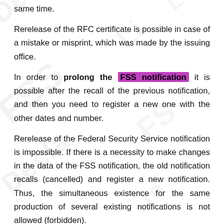same time.
Rerelease of the RFC certificate is possible in case of a mistake or misprint, which was made by the issuing office.
In order to prolong the FSS notification it is possible after the recall of the previous notification, and then you need to register a new one with the other dates and number.
Rerelease of the Federal Security Service notification is impossible. If there is a necessity to make changes in the data of the FSS notification, the old notification recalls (cancelled) and register a new notification. Thus, the simultaneous existence for the same production of several existing notifications is not allowed (forbidden).